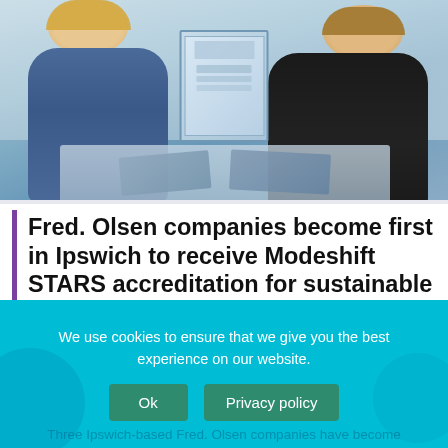[Figure (photo): Two women in an office/retail environment exchanging a framed certificate or plaque. The woman on the left wears a denim outfit; the woman on the right wears a black top. There is a display table with printed materials behind them.]
Fred. Olsen companies become first in Ipswich to receive Modeshift STARS accreditation for sustainable travel efforts
We use cookies to ensure that we give you the best experience on our website.
Three Ipswich-based Fred. Olsen companies have become